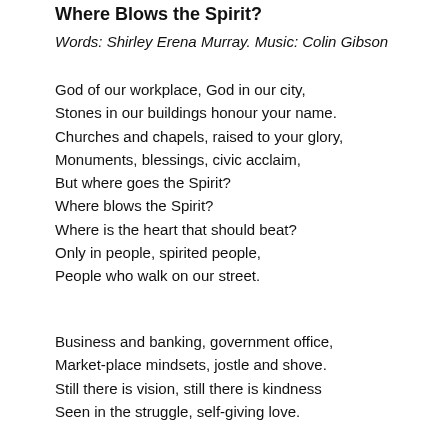Where Blows the Spirit?
Words: Shirley Erena Murray. Music: Colin Gibson
God of our workplace, God in our city,
Stones in our buildings honour your name.
Churches and chapels, raised to your glory,
Monuments, blessings, civic acclaim,
But where goes the Spirit?
Where blows the Spirit?
Where is the heart that should beat?
Only in people, spirited people,
People who walk on our street.
Business and banking, government office,
Market-place mindsets, jostle and shove.
Still there is vision, still there is kindness
Seen in the struggle, self-giving love.